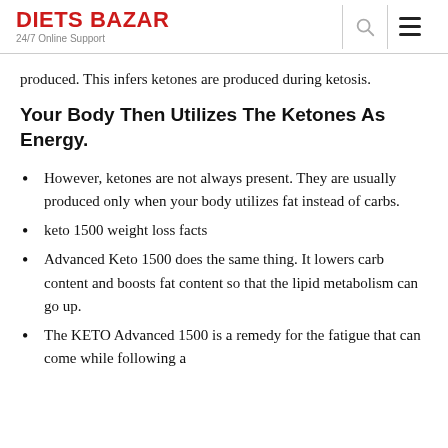DIETS BAZAR 24/7 Online Support
produced. This infers ketones are produced during ketosis.
Your Body Then Utilizes The Ketones As Energy.
However, ketones are not always present. They are usually produced only when your body utilizes fat instead of carbs.
keto 1500 weight loss facts
Advanced Keto 1500 does the same thing. It lowers carb content and boosts fat content so that the lipid metabolism can go up.
The KETO Advanced 1500 is a remedy for the fatigue that can come while following a